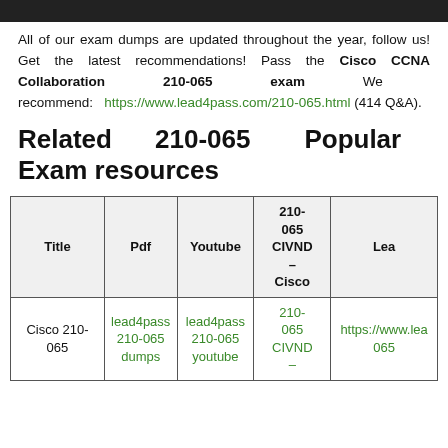All of our exam dumps are updated throughout the year, follow us! Get the latest recommendations! Pass the Cisco CCNA Collaboration 210-065 exam We recommend: https://www.lead4pass.com/210-065.html (414 Q&A).
Related 210-065 Popular Exam resources
| Title | Pdf | Youtube | 210-065 CIVND – Cisco | Lead |
| --- | --- | --- | --- | --- |
| Cisco 210-065 | lead4pass 210-065 dumps | lead4pass 210-065 youtube | 210-065 CIVND – | https://www.lea 065 |